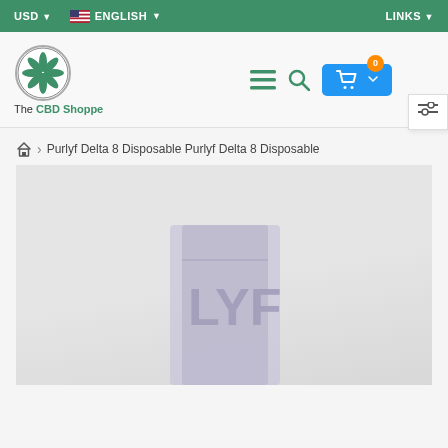USD  ENGLISH  LINKS
[Figure (logo): The CBD Shoppe logo with cannabis leaf in a circle]
Purlyf Delta 8 Disposable Purlyf Delta 8 Disposable
[Figure (photo): Product image of Purlyf Delta 8 Disposable vape on a light grey background]